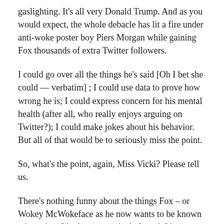gaslighting. It’s all very Donald Trump. And as you would expect, the whole debacle has lit a fire under anti-woke poster boy Piers Morgan while gaining Fox thousands of extra Twitter followers.
I could go over all the things he’s said [Oh I bet she could — verbatim] ; I could use data to prove how wrong he is; I could express concern for his mental health (after all, who really enjoys arguing on Twitter?); I could make jokes about his behavior. But all of that would be to seriously miss the point.
So, what’s the point, again, Miss Vicki? Please tell us.
There’s nothing funny about the things Fox – or Wokey McWokeface as he now wants to be known – is saying. It’s also not particularly sad. It’s dangerous.